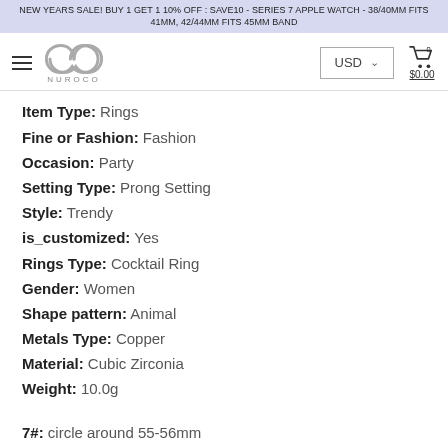NEW YEARS SALE! BUY 1 GET 1 10% OFF : SAVE10 - SERIES 7 APPLE WATCH - 38/40MM FITS 41MM, 42/44MM FITS 45MM BAND
[Figure (logo): Nuroco infinity loop logo with hamburger menu, USD currency selector, and cart icon showing $0.00]
Item Type: Rings
Fine or Fashion: Fashion
Occasion: Party
Setting Type: Prong Setting
Style: Trendy
is_customized: Yes
Rings Type: Cocktail Ring
Gender: Women
Shape pattern: Animal
Metals Type: Copper
Material: Cubic Zirconia
Weight: 10.0g
7#: circle around 55-56mm